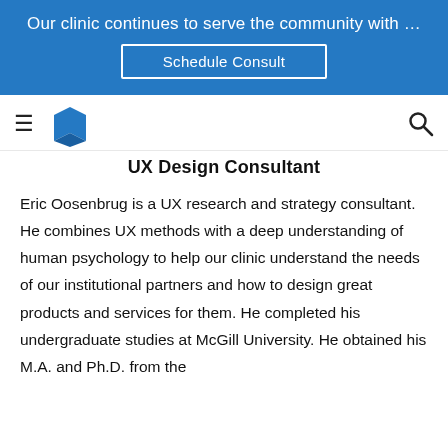Our clinic continues to serve the community with …
Schedule Consult
UX Design Consultant
Eric Oosenbrug is a UX research and strategy consultant. He combines UX methods with a deep understanding of human psychology to help our clinic understand the needs of our institutional partners and how to design great products and services for them. He completed his undergraduate studies at McGill University. He obtained his M.A. and Ph.D. from the